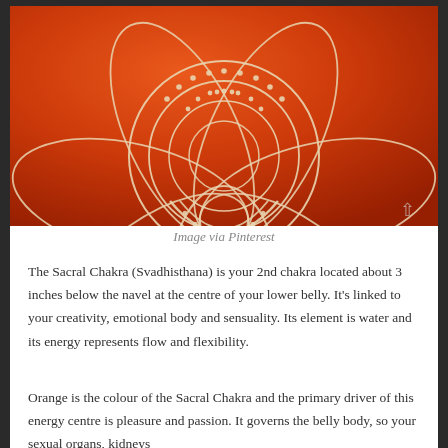[Figure (illustration): Orange Sacral Chakra (Svadhisthana) mandala symbol on a textured red-orange background, showing a lotus flower with concentric circles and dotted arcs in white/cream tones.]
Image via Pinterest
The Sacral Chakra (Svadhisthana) is your 2nd chakra located about 3 inches below the navel at the centre of your lower belly. It's linked to your creativity, emotional body and sensuality. Its element is water and its energy represents flow and flexibility.
Orange is the colour of the Sacral Chakra and the primary driver of this energy centre is pleasure and passion. It governs the belly body, so your sexual organs, kidneys